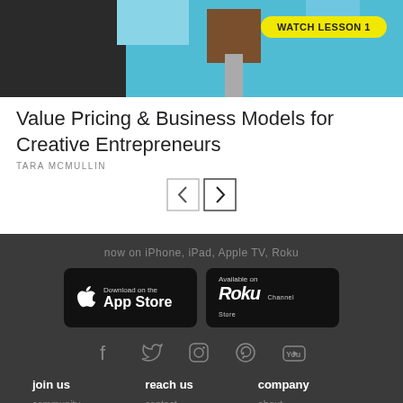[Figure (screenshot): Hero image with Minecraft-style illustration and yellow 'WATCH LESSON 1' badge]
Value Pricing & Business Models for Creative Entrepreneurs
TARA MCMULLIN
[Figure (illustration): Navigation arrows: left and right chevron buttons]
now on iPhone, iPad, Apple TV, Roku
[Figure (logo): Download on the App Store button]
[Figure (logo): Available on Roku Channel Store button]
[Figure (infographic): Social media icons: Facebook, Twitter, Instagram, Pinterest, YouTube]
join us
reach us
company
community
contact
about
become an affiliate
help
instructors
creative guides
stories